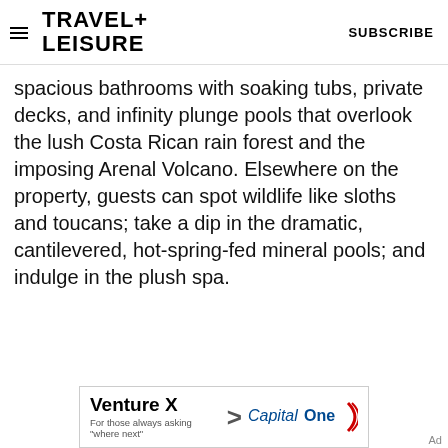TRAVEL+ LEISURE  SUBSCRIBE
spacious bathrooms with soaking tubs, private decks, and infinity plunge pools that overlook the lush Costa Rican rain forest and the imposing Arenal Volcano. Elsewhere on the property, guests can spot wildlife like sloths and toucans; take a dip in the dramatic, cantilevered, hot-spring-fed mineral pools; and indulge in the plush spa.
[Figure (other): Capital One Venture X advertisement banner: 'Venture X > Capital One / For those always asking "where next"']